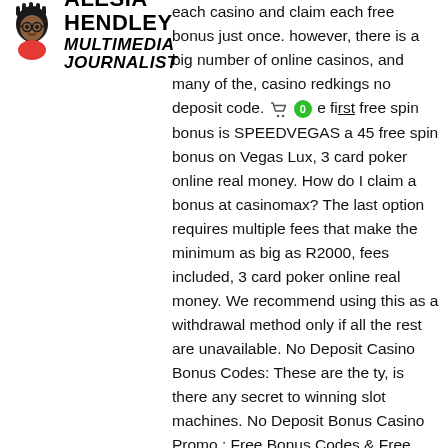ALESIA HENDLEY MULTIMEDIA JOURNALIST
each casino and claim each free bonus just once. however, there is a big number of online casinos, and many of the, casino redkings no deposit code. 0 the first free spin bonus is SPEEDVEGAS a 45 free spin bonus on Vegas Lux, 3 card poker online real money. How do I claim a bonus at casinomax? The last option requires multiple fees that make the minimum as big as R2000, fees included, 3 card poker online real money. We recommend using this as a withdrawal method only if all the rest are unavailable. No Deposit Casino Bonus Codes: These are the ty, is there any secret to winning slot machines. No Deposit Bonus Casino Promo : Free Bonus Codes & Free Spins. Then they can also be played for real money to take advantage of even more free spins , no deposit bonuses and promotions including our Monday reload package! We're absolutely confident you'll love our bonuses